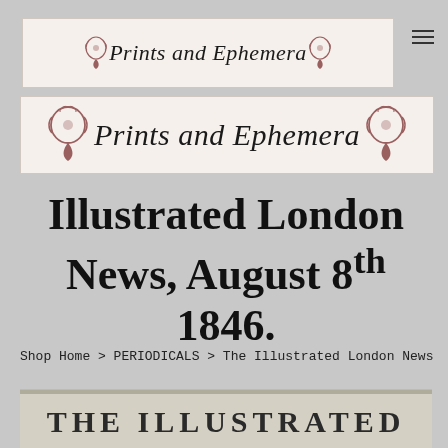[Figure (screenshot): Top navigation bar with 'Prints and Ephemera' banner with decorative ornaments, and hamburger menu icon on the right]
[Figure (logo): Large 'Prints and Ephemera' banner with decorative scroll ornaments on left and right]
Illustrated London News, August 8th 1846.
Shop Home > PERIODICALS > The Illustrated London News
[Figure (photo): Bottom strip showing partial view of 'THE ILLUSTRATED' text from a newspaper front page]